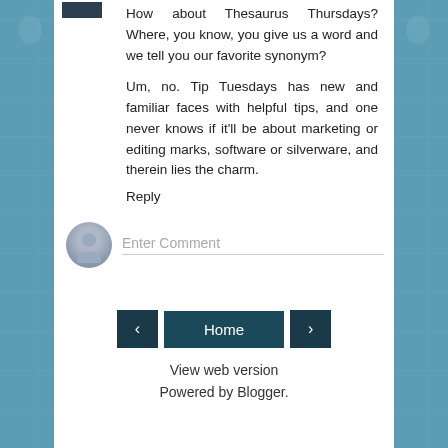How about Thesaurus Thursdays? Where, you know, you give us a word and we tell you our favorite synonym?
Um, no. Tip Tuesdays has new and familiar faces with helpful tips, and one never knows if it'll be about marketing or editing marks, software or silverware, and therein lies the charm.
Reply
Enter Comment
Home
View web version
Powered by Blogger.